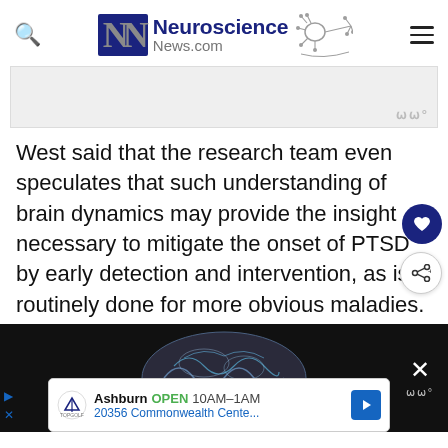[Figure (logo): Neuroscience News.com logo with stylized NN letters and neuron graphic]
[Figure (photo): Gray rectangle representing an advertisement or image placeholder with weather icon watermark]
West said that the research team even speculates that such understanding of brain dynamics may provide the insight necessary to mitigate the onset of PTSD by early detection and intervention, as is routinely done for more obvious maladies.
[Figure (photo): Brain scan image on dark background with advertisement overlay: Topgolf Ashburn OPEN 10AM-1AM 20356 Commonwealth Cente...]